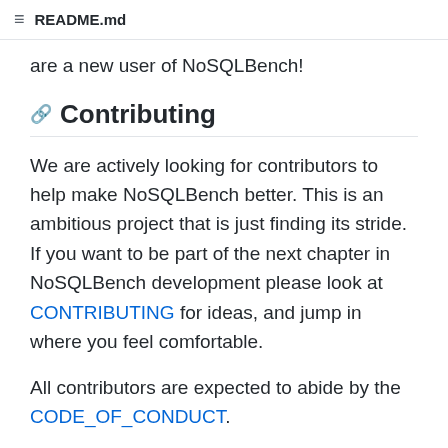README.md
are a new user of NoSQLBench!
Contributing
We are actively looking for contributors to help make NoSQLBench better. This is an ambitious project that is just finding its stride. If you want to be part of the next chapter in NoSQLBench development please look at CONTRIBUTING for ideas, and jump in where you feel comfortable.
All contributors are expected to abide by the CODE_OF_CONDUCT.
License
All of the code in this repository is licensed under the